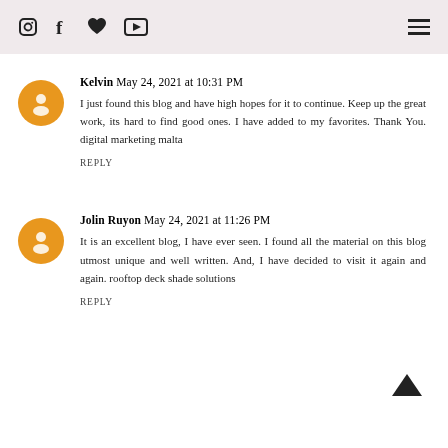Social media icons and hamburger menu
Kelvin May 24, 2021 at 10:31 PM
I just found this blog and have high hopes for it to continue. Keep up the great work, its hard to find good ones. I have added to my favorites. Thank You. digital marketing malta
REPLY
Jolin Ruyon May 24, 2021 at 11:26 PM
It is an excellent blog, I have ever seen. I found all the material on this blog utmost unique and well written. And, I have decided to visit it again and again. rooftop deck shade solutions
REPLY